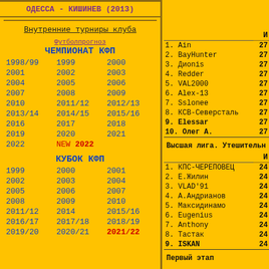ОДЕССА - КИШИНЕВ (2013)
Внутренние турниры клуба
Футболпрогноз
ЧЕМПИОНАТ КФП
1998/99 1999 2000
2001 2002 2003
2004 2005 2006
2007 2008 2009
2010 2011/12 2012/13
2013/14 2014/15 2015/16
2016 2017 2018
2019 2020 2021
2022 NEW 2022
КУБОК КФП
1999 2000 2001
2002 2003 2004
2005 2006 2007
2008 2009 2010
2011/12 2014 2015/16
2016/17 2017/18 2018/19
2019/20 2020/21 2021/22
|  | И |
| --- | --- |
| 1. Ain | 27 |
| 2. BayHunter | 27 |
| 3. Диonis | 27 |
| 4. Redder | 27 |
| 5. VAL2000 | 27 |
| 6. Alex-13 | 27 |
| 7. Sslonee | 27 |
| 8. КСВ-Северсталь | 27 |
| 9. Elessar | 27 |
| 10. Олег А. | 27 |
Высшая лига. Утешительн
|  | И |
| --- | --- |
| 1. КПС-ЧЕРЕПОВЕЦ | 24 |
| 2. Е.Жилин | 24 |
| 3. VLAD'91 | 24 |
| 4. А.Андрианов | 24 |
| 5. Максидинамо | 24 |
| 6. Eugenius | 24 |
| 7. Anthony | 24 |
| 8. Тастак | 24 |
| 9. ISKAN | 24 |
Первый этап